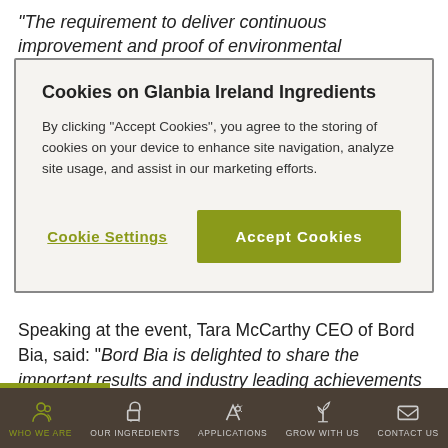“The requirement to deliver continuous improvement and proof of environmental sustainability comes from a
Cookies on Glanbia Ireland Ingredients
By clicking “Accept Cookies”, you agree to the storing of cookies on your device to enhance site navigation, analyze site usage, and assist in our marketing efforts.
Cookie Settings | Accept Cookies
Speaking at the event, Tara McCarthy CEO of Bord Bia, said: “Bord Bia is delighted to share the important results and industry leading achievements outlined in the Origin Green Progress Update Report 2021, as proof and progress continue to be trademarks of our world-class, national sustainability programme. This evidence of
WHO WE ARE | OUR INGREDIENTS | APPLICATIONS | GROW WITH US | CONTACT US